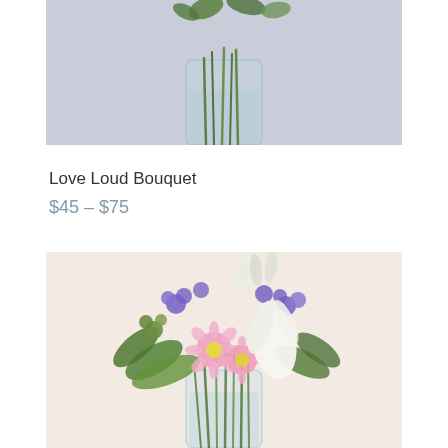[Figure (photo): Partial top view of a floral bouquet in a clear glass vase against a light blue-gray background. The bottom portion of the bouquet is visible showing stems and foliage inside the vase.]
Love Loud Bouquet
$45 – $75
[Figure (photo): Full bouquet arrangement in a clear glass vase on a cream/beige background. The bouquet features pink daisies, white lilies, purple statice, green foliage, and other colorful blooms. Stems are visible through the glass vase.]